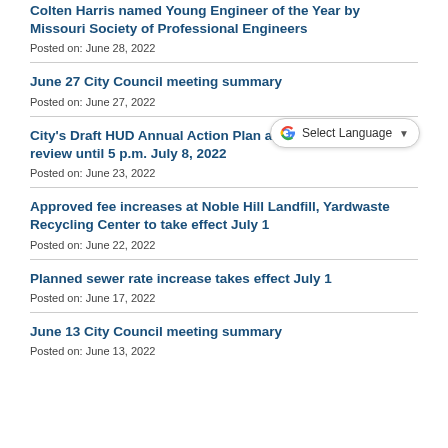Colten Harris named Young Engineer of the Year by Missouri Society of Professional Engineers
Posted on: June 28, 2022
June 27 City Council meeting summary
Posted on: June 27, 2022
City's Draft HUD Annual Action Plan available for public review until 5 p.m. July 8, 2022
Posted on: June 23, 2022
Approved fee increases at Noble Hill Landfill, Yardwaste Recycling Center to take effect July 1
Posted on: June 22, 2022
Planned sewer rate increase takes effect July 1
Posted on: June 17, 2022
June 13 City Council meeting summary
Posted on: June 13, 2022